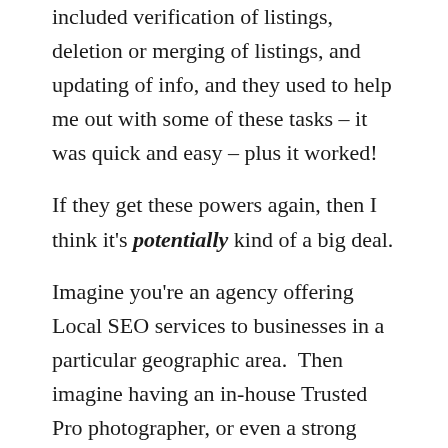included verification of listings, deletion or merging of listings, and updating of info, and they used to help me out with some of these tasks – it was quick and easy – plus it worked!
If they get these powers again, then I think it's potentially kind of a big deal.
Imagine you're an agency offering Local SEO services to businesses in a particular geographic area.  Then imagine having an in-house Trusted Pro photographer, or even a strong partnership with a Trusted Pro.  Not only can they produce wonderful content for your clients' GMB profiles (think 360 tours